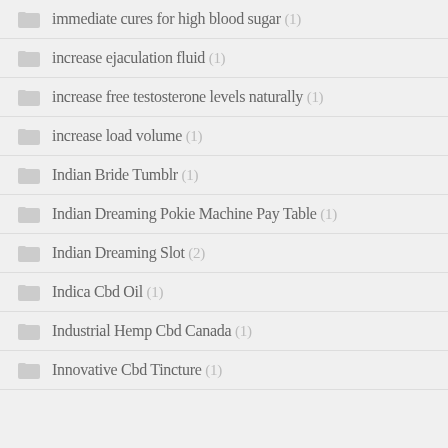immediate cures for high blood sugar (1)
increase ejaculation fluid (1)
increase free testosterone levels naturally (1)
increase load volume (1)
Indian Bride Tumblr (1)
Indian Dreaming Pokie Machine Pay Table (1)
Indian Dreaming Slot (2)
Indica Cbd Oil (1)
Industrial Hemp Cbd Canada (1)
Innovative Cbd Tincture (1)